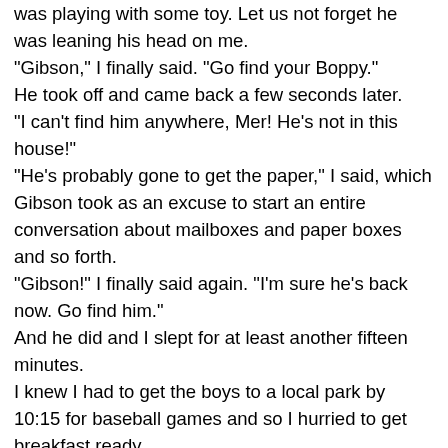was playing with some toy. Let us not forget he was leaning his head on me.
"Gibson," I finally said. "Go find your Boppy."
He took off and came back a few seconds later.
"I can't find him anywhere, Mer! He's not in this house!"
"He's probably gone to get the paper," I said, which Gibson took as an excuse to start an entire conversation about mailboxes and paper boxes and so forth.
"Gibson!" I finally said again. "I'm sure he's back now. Go find him."
And he did and I slept for at least another fifteen minutes.
I knew I had to get the boys to a local park by 10:15 for baseball games and so I hurried to get breakfast ready.
Boppy tried to convince Gibson that a nice bowl of Honey Nut Cheerios with cut-up bananas would be a superior breakfast.
"Ha!" Gibson snorted. "I don't think so."
They got waffles and bacon.
Because of course.

We finally got breakfast eaten and the boys went to get their baseball duds on. Vergil and August showed up to help Mr. Mo...